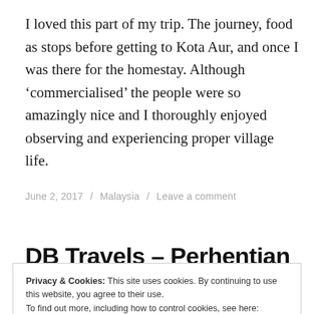I loved this part of my trip. The journey, food as stops before getting to Kota Aur, and once I was there for the homestay. Although ‘commercialised’ the people were so amazingly nice and I thoroughly enjoyed observing and experiencing proper village life.
June 2, 2017 / Malaysia / Leave a comment
DB Travels – Perhentian
Privacy & Cookies: This site uses cookies. By continuing to use this website, you agree to their use.
To find out more, including how to control cookies, see here: Cookie Policy
[Close and accept]